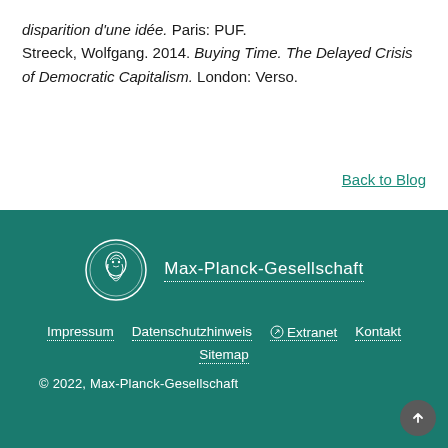disparition d'une idée. Paris: PUF.
Streeck, Wolfgang. 2014. Buying Time. The Delayed Crisis of Democratic Capitalism. London: Verso.
Back to Blog
[Figure (logo): Max-Planck-Gesellschaft circular coin logo with profile portrait]
Max-Planck-Gesellschaft
Impressum  Datenschutzhinweis  ↗ Extranet  Kontakt  Sitemap
© 2022, Max-Planck-Gesellschaft